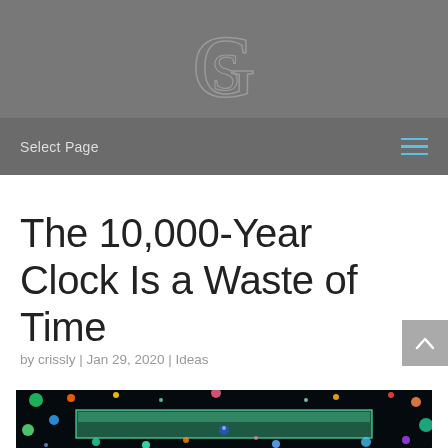S (logo)
Select Page
The 10,000-Year Clock Is a Waste of Time
by crissly | Jan 29, 2020 | Ideas
[Figure (photo): Colorful abstract image with glowing multicolored spheres/bubbles on a dark background with a metallic rectangular structure partially visible]